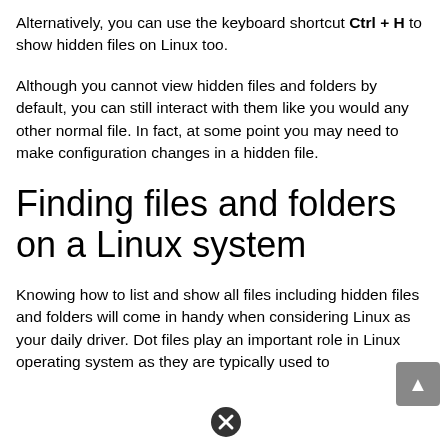Alternatively, you can use the keyboard shortcut Ctrl + H to show hidden files on Linux too.
Although you cannot view hidden files and folders by default, you can still interact with them like you would any other normal file. In fact, at some point you may need to make configuration changes in a hidden file.
Finding files and folders on a Linux system
Knowing how to list and show all files including hidden files and folders will come in handy when considering Linux as your daily driver. Dot files play an important role in Linux operating system as they are typically used to